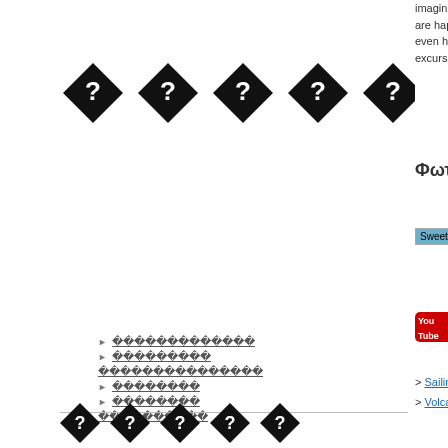[Figure (illustration): Row of 6 black diamond shapes with question marks inside, representing placeholder/unknown content]
►  ????????????? (underlined)
►  ????????? (underlined)
??????????????? (underlined)
►  ???????? (underlined)
►  ???????? (underlined)
?????????? (underlined)
[Figure (illustration): Row of 5 black diamond shapes with question marks, smaller than top row]
imagination wor... are happy to enj... even has some s... excursion, via bu...
Φωτογραφί
Sweet Hom
Videos
> Sailing
> Volcano Boat